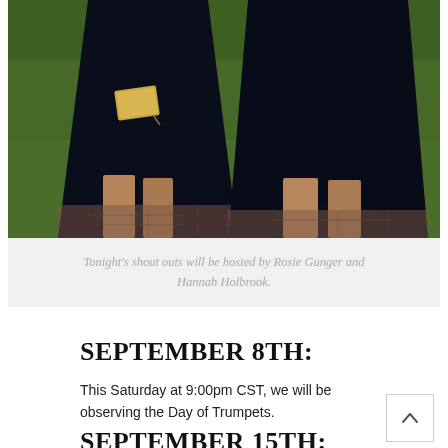[Figure (photo): Two people wearing black dresses standing on a brick path with green grass in the background. The person on the left holds a gold clutch purse. Both figures are cropped below the neck.]
Tonight's shout outs will be hosted by Rosie Gunger and Hannah Holbrook.
SEPTEMBER 8TH:
This Saturday at 9:00pm CST, we will be observing the Day of Trumpets.
SEPTEMBER 15TH: